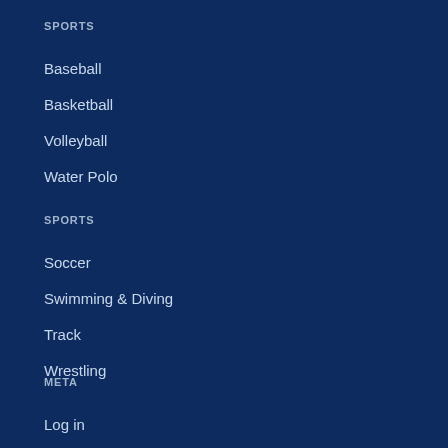SPORTS
Baseball
Basketball
Volleyball
Water Polo
SPORTS
Soccer
Swimming & Diving
Track
Wrestling
META
Log in
Entries RSS